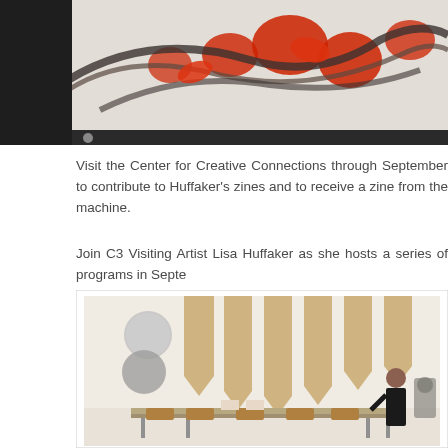[Figure (photo): Top partial image showing artwork with red circular shapes and dark branch-like forms against a black bordered background]
Visit the Center for Creative Connections through September to contribute to Huffaker's zines and to receive a zine from the machine.
Join C3 Visiting Artist Lisa Huffaker as she hosts a series of programs in September
[Figure (photo): Photo of Lisa Huffaker standing in a gallery room with tan hanging banner flags on the wall, circular metallic wall pieces, and a long table with tan chairs. She is wearing a black dress.]